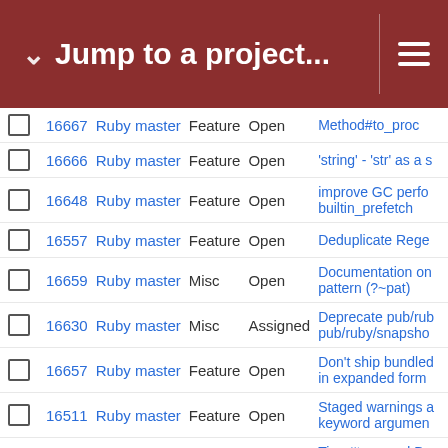Jump to a project...
|  | # | Project | Type | Status | Subject |
| --- | --- | --- | --- | --- | --- |
|  | 16667 | Ruby master | Feature | Open | Method#to_proc |
|  | 16666 | Ruby master | Feature | Open | 'string' - 'str' as a s |
|  | 16648 | Ruby master | Feature | Open | improve GC perfo builtin_prefetch |
|  | 16557 | Ruby master | Feature | Open | Deduplicate Rege |
|  | 16659 | Ruby master | Misc | Open | Documentation on pattern (?~pat) |
|  | 16630 | Ruby master | Misc | Assigned | Deprecate pub/rub pub/ruby/snapsho |
|  | 16657 | Ruby master | Feature | Open | Don't ship bundled in expanded form |
|  | 16511 | Ruby master | Feature | Open | Staged warnings a keyword argumen |
|  | 16637 | Ruby master | Feature | Open | Time#to_s and Da string |
|  | 16638 | Ruby master | Feature | Open | Structured Data fo |
|  | 15563 | Ruby master | Feature | Open | #dig that throws a exist |
|  | 15371 | Ruby master | Feature | Assigned | IRB with ARGV |